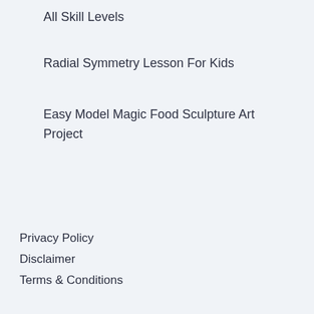All Skill Levels
Radial Symmetry Lesson For Kids
Easy Model Magic Food Sculpture Art Project
Privacy Policy
Disclaimer
Terms & Conditions